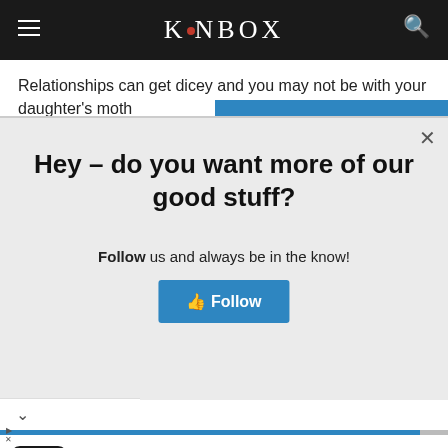KiNBOX
Relationships can get dicey and you may not be with your daughter's moth
Hey – do you want more of our good stuff?
Follow us and always be in the know!
[Figure (screenshot): Blue Facebook Follow button with thumbs-up icon]
[Figure (infographic): Hair Cuttery advertisement with logo, title Time For a Trim?, and a blue diamond navigation arrow icon]